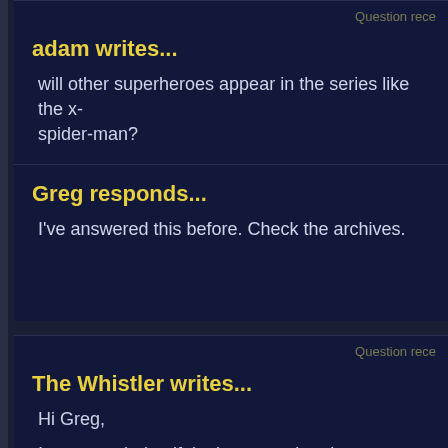Question rece...
adam writes...
will other superheroes appear in the series like the x-... spider-man?
Greg responds...
I've answered this before. Check the archives.
Question rece...
The Whistler writes...
Hi Greg,
I was wondering if, in the event that the Spectacular ... more seasons, will anybody at Sony or Marvel be pla... hotline staffed with sympathetic counselors knowlege... who feel we will not be able to live without MORE of t...